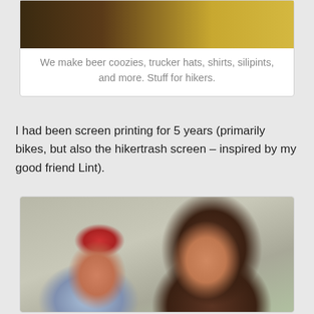[Figure (photo): Top portion of an image showing outdoor/nature scene with yellow and brown tones, partially cropped at top]
We make beer coozies, trucker hats, shirts, silipints, and more. Stuff for hikers.
I had been screen printing for 5 years (primarily bikes, but also the hikertrash screen – inspired by my good friend Lint).
[Figure (photo): Photo of two people: a man on the left wearing a trucker hat and light blue shirt with suspenders, and a woman on the right with brown hair wearing a brown top, both smiling indoors]